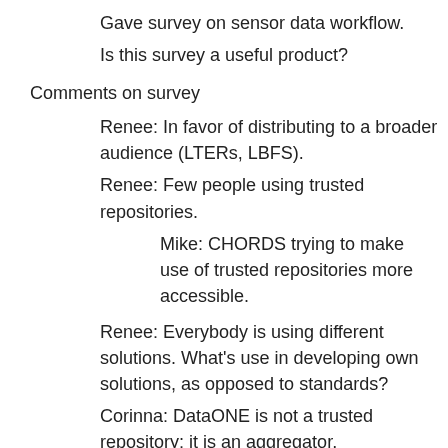Gave survey on sensor data workflow.
Is this survey a useful product?
Comments on survey
Renee: In favor of distributing to a broader audience (LTERs, LBFS).
Renee: Few people using trusted repositories.
Mike: CHORDS trying to make use of trusted repositories more accessible.
Renee: Everybody is using different solutions. What's use in developing own solutions, as opposed to standards?
Corinna: DataONE is not a trusted repository; it is an aggregator.
Corinna: Coming up with a data model that works for everybody is too ambitious. Sometimes prevents